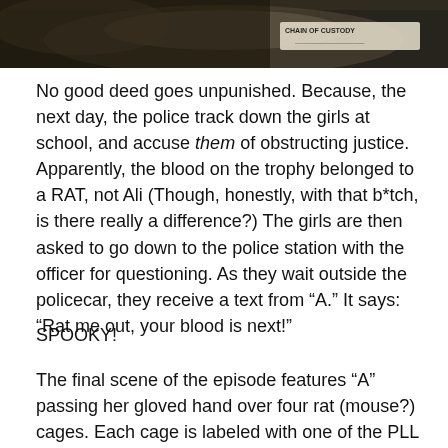[Figure (photo): A blurry close-up photo showing what appears to be a cup or container with a label reading 'CHAIN OF CUSTODY']
No good deed goes unpunished.  Because, the next day, the police track down the girls at school, and accuse them of obstructing justice.  Apparently, the blood on the trophy belonged to a RAT, not Ali (Though, honestly,  with that b*tch, is there really a difference?)  The girls are then asked to go down to the police station with the officer for questioning.  As they wait outside the policecar, they receive a text from “A.”  It says:  “Rat me out, your blood is next!”
SPOOKY!
The final scene of the episode features “A” passing her gloved hand over four rat (mouse?) cages.  Each cage is labeled with one of the PLL girls’ names . . .